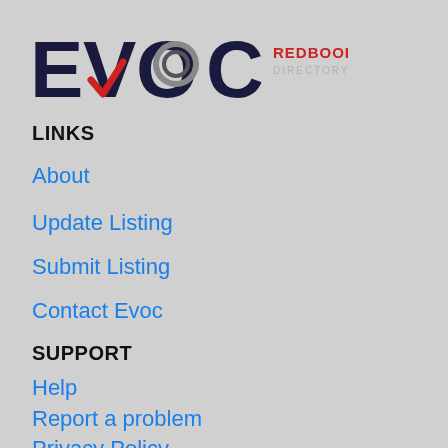[Figure (logo): EVOC Redbook Directory logo with stylized letters E, V (with red checkmark), O (with circular swoosh), C in dark navy, and REDBOOK DIRECTORY text in red/gray]
LINKS
About
Update Listing
Submit Listing
Contact Evoc
SUPPORT
Help
Report a problem
Privacy Policy